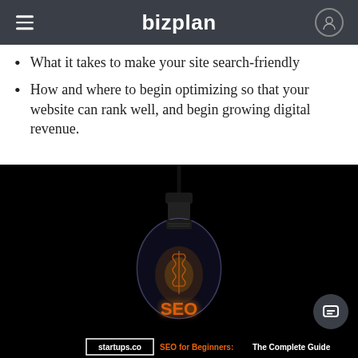bizplan
What it takes to make your site search-friendly
How and where to begin optimizing so that your website can rank well, and begin growing digital revenue.
[Figure (photo): A glowing Edison-style lightbulb hanging against a black background, with 'SEO' visible as the filament inside the bulb. Caption bar shows 'startups.co' badge and 'SEO for Beginners: The Complete Guide' text.]